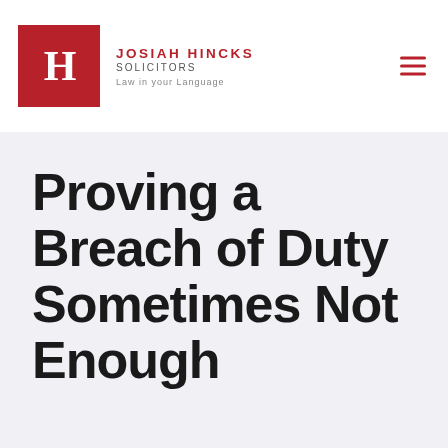[Figure (logo): Josiah Hincks Solicitors logo — red square with white H letter mark, red text JOSIAH HINCKS, grey SOLICITORS, grey tagline Law in your Language]
Proving a Breach of Duty Sometimes Not Enough